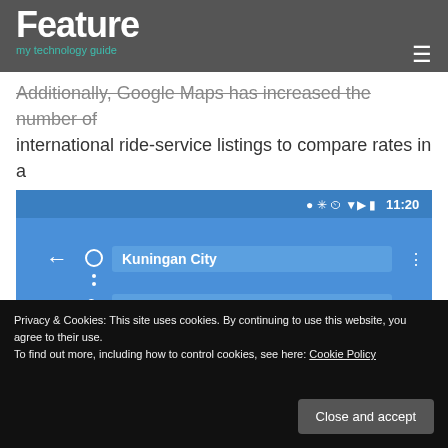Feature | my technology guide
Additionally, Google Maps has increased the number of international ride-service listings to compare rates in a number of new countries.
[Figure (screenshot): Google Maps app screenshot showing directions from Kuningan City to Taman Mini Indonesia Indah with options: car 46 min, train 3 hr 24, walking 2 hr 49, car 46 min]
Privacy & Cookies: This site uses cookies. By continuing to use this website, you agree to their use. To find out more, including how to control cookies, see here: Cookie Policy